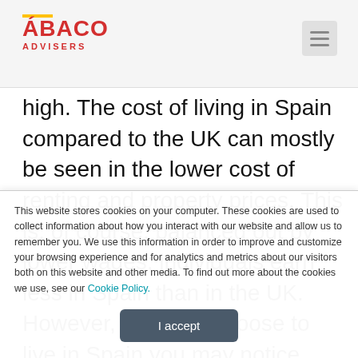ÁBACO ADVISERS
high. The cost of living in Spain compared to the UK can mostly be seen in the lower cost of renting and property prices. This is, of course, balanced out by lower wages; individuals earn less in Spain than in the UK. However, if you do choose to live in Spain you may notice yourself having more in your pocket at the end
This website stores cookies on your computer. These cookies are used to collect information about how you interact with our website and allow us to remember you. We use this information in order to improve and customize your browsing experience and for analytics and metrics about our visitors both on this website and other media. To find out more about the cookies we use, see our Cookie Policy.
I accept